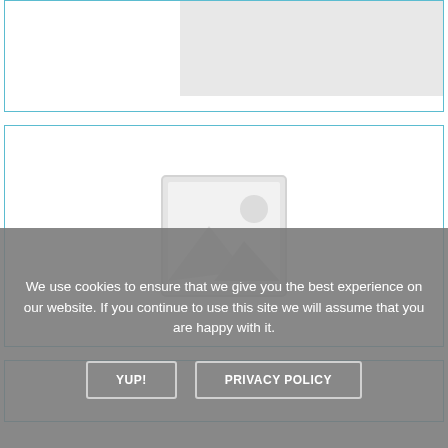[Figure (other): Top partial product card with gray image area on the right side, cut off at top of page]
[Figure (photo): Middle card with a gray placeholder image icon (landscape/photo placeholder with mountain and sun)]
[Figure (other): Bottom partial product card, partially visible]
We use cookies to ensure that we give you the best experience on our website. If you continue to use this site we will assume that you are happy with it.
YUP!
PRIVACY POLICY